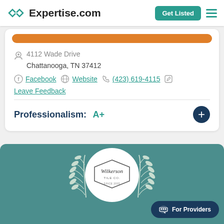Expertise.com
4112 Wade Drive
Chattanooga, TN 37412
Facebook  Website  (423) 619-4115
Leave Feedback
Professionalism: A+
[Figure (logo): Wilkerson Tile Co. logo inside a white circle badge with laurel wreath decoration on teal background]
For Providers